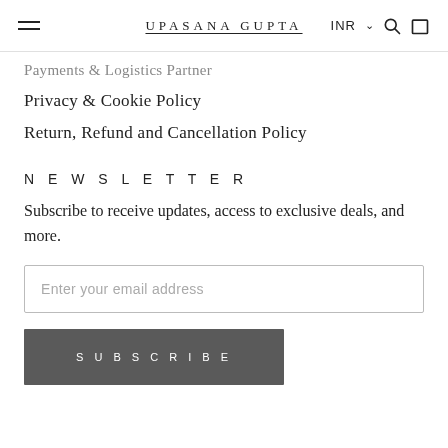UPASANA GUPTA
Payments & Logistics Partner
Privacy & Cookie Policy
Return, Refund and Cancellation Policy
NEWSLETTER
Subscribe to receive updates, access to exclusive deals, and more.
Enter your email address
SUBSCRIBE